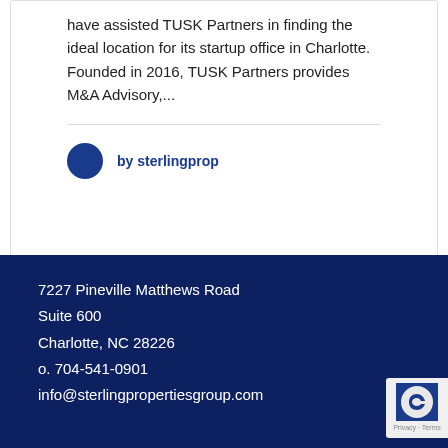have assisted TUSK Partners in finding the ideal location for its startup office in Charlotte. Founded in 2016, TUSK Partners provides M&A Advisory,...
by sterlingprop
7227 Pineville Matthews Road
Suite 600
Charlotte, NC 28226
o. 704-541-0901
info@sterlingpropertiesgroup.com